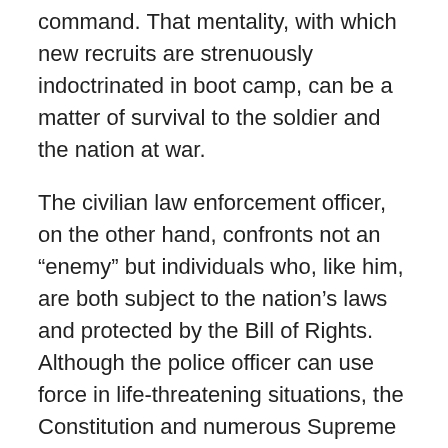command. That mentality, with which new recruits are strenuously indoctrinated in boot camp, can be a matter of survival to the soldier and the nation at war.
The civilian law enforcement officer, on the other hand, confronts not an “enemy” but individuals who, like him, are both subject to the nation’s laws and protected by the Bill of Rights. Although the police officer can use force in life-threatening situations, the Constitution and numerous Supreme Court rulings have circumscribed the police officer’s direct use of force, as well as his power of search and seizure.59
In terms of violence, the police officer’s role is, or should be, purely reactive. When a police officer begins to think like a soldier, tragic consequences, such as the loss of innocent life at Waco, will result